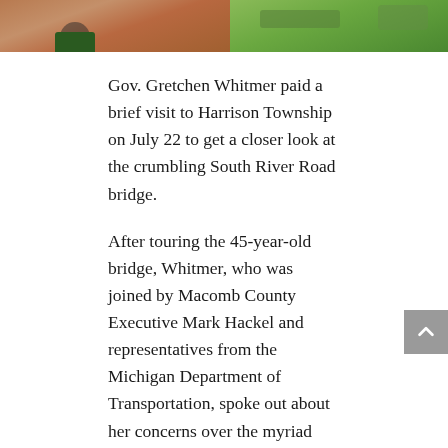[Figure (photo): Top portion of a photo showing a brick/stone pathway and green grass, with a person's feet visible at the top left]
Gov. Gretchen Whitmer paid a brief visit to Harrison Township on July 22 to get a closer look at the crumbling South River Road bridge.
After touring the 45-year-old bridge, Whitmer, who was joined by Macomb County Executive Mark Hackel and representatives from the Michigan Department of Transportation, spoke out about her concerns over the myriad bridges across the state in dire need of attention and funding.
“This is a peninsula, and if something happens to this bridge, these businesses and homes would be cut off,” she said. “It’s a public safety issue.”
Fixing the state’s deteriorating roads was the focus of Whitmer’s campaign last year. She previously proposed